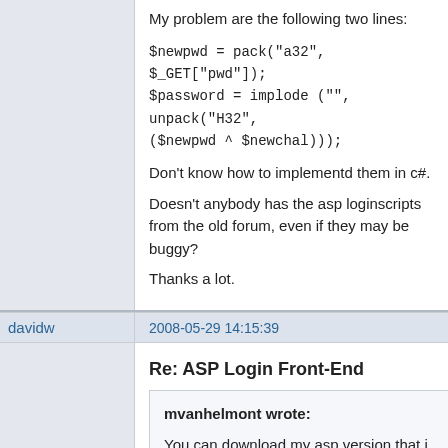My problem are the following two lines:
$newpwd = pack("a32", $_GET["pwd"]);
$password = implode ("", unpack("H32", ($newpwd ^ $newchal)));
Don't know how to implementd them in c#.
Doesn't anybody has the asp loginscripts from the old forum, even if they may be buggy?
Thanks a lot.
davidw
2008-05-29 14:15:39
6
Re: ASP Login Front-End
mvanhelmont wrote:
You can download my asp version that i have used for a while:
http://hotspot.helmont.nl/downloadsource.